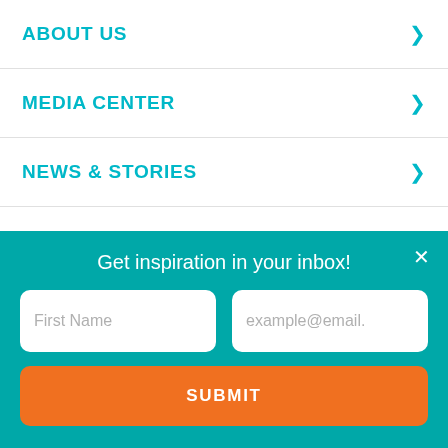ABOUT US
MEDIA CENTER
NEWS & STORIES
MY WORLD VISION (SIGN IN)
MY BASKET
Get inspiration in your inbox!
First Name
example@email.
SUBMIT